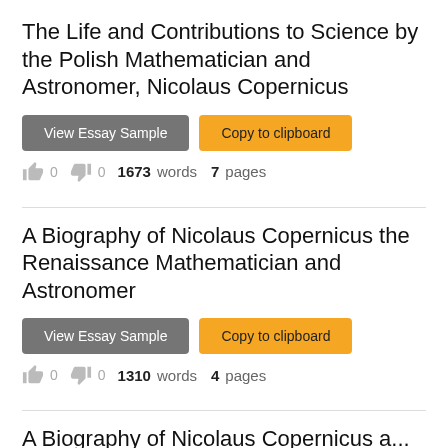The Life and Contributions to Science by the Polish Mathematician and Astronomer, Nicolaus Copernicus
View Essay Sample  Copy to clipboard  👍 0  👎 0  1673 words  7 pages
A Biography of Nicolaus Copernicus the Renaissance Mathematician and Astronomer
View Essay Sample  Copy to clipboard  👍 0  👎 0  1310 words  4 pages
A Biography of Nicolaus Copernicus...